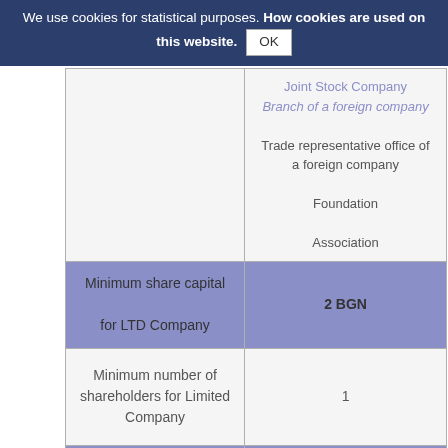We use cookies for statistical purposes. How cookies are used on this website. OK
|  | Joint Stock Company
Branch of a foreign company
Trade representative office of a foreign company
Foundation
Association |
| Minimum share capital for LTD Company | 2 BGN |
| Minimum number of shareholders for Limited Company | 1 |
| Time frame for the incorporation | 3 days from the moment the share capital is deposited |
| Corporate tax rate | 10 % flat |